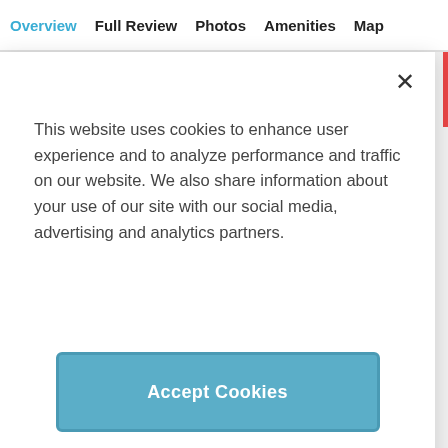Overview  Full Review  Photos  Amenities  Map
This website uses cookies to enhance user experience and to analyze performance and traffic on our website. We also share information about your use of our site with our social media, advertising and analytics partners.
Accept Cookies
Cookie Preferences
[Figure (screenshot): Thumbnail image of Wailea Beach Villas property]
Wailea Beach Villas
Wailea
See Review
ADVERTISEMENT
[Figure (screenshot): Thumbnail image of Grand Wailea property]
UPSCALE
Grand Wailea